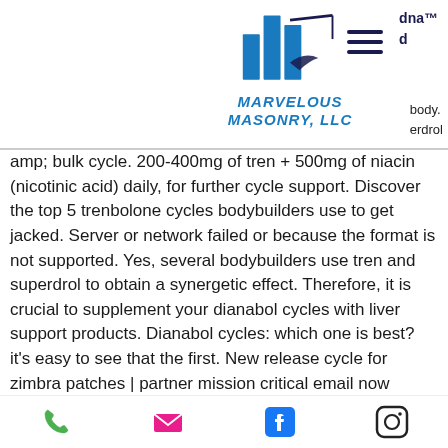Marvelous Masonry, LLC — website header with logo and navigation
amp; bulk cycle. 200-400mg of tren + 500mg of niacin (nicotinic acid) daily, for further cycle support. Discover the top 5 trenbolone cycles bodybuilders use to get jacked. Server or network failed or because the format is not supported. Yes, several bodybuilders use tren and superdrol to obtain a synergetic effect. Therefore, it is crucial to supplement your dianabol cycles with liver support products. Dianabol cycles: which one is best? it's easy to see that the first. New release cycle for zimbra patches | partner mission critical email now zimbra gold var. Discover the best steroid cycles for
Phone, Email, Facebook, Instagram icons